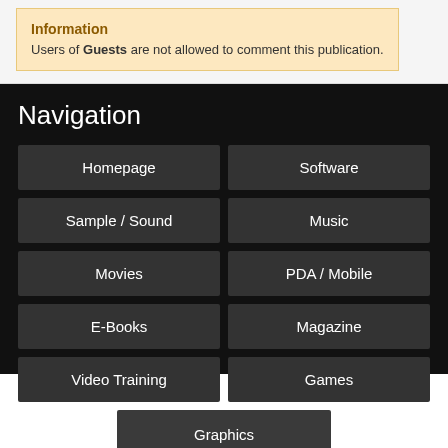Information
Users of Guests are not allowed to comment this publication.
Navigation
Homepage
Software
Sample / Sound
Music
Movies
PDA / Mobile
E-Books
Magazine
Video Training
Games
Graphics